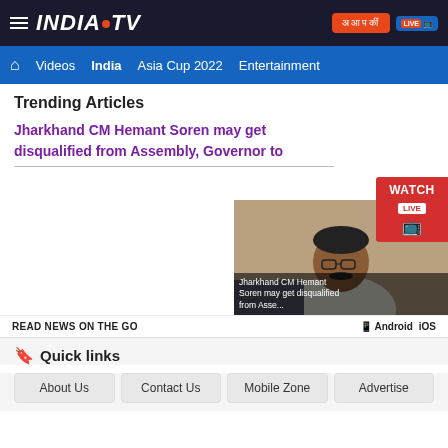INDIA TV — Navigation: Videos, India, Asia Cup 2022, Entertainment
Trending Articles
Jharkhand CM Hemant Soren may get disqualified from Assembly, Governor to
[Figure (screenshot): Thumbnail of Jharkhand CM Hemant Soren with overlay text 'Jharkhand CM Hemant Soren may get disqualified from Asse...' and a Watch Live button in top right corner]
READ NEWS ON THE GO  Android  iOS
Quick links
About Us
Contact Us
Mobile Zone
Advertise